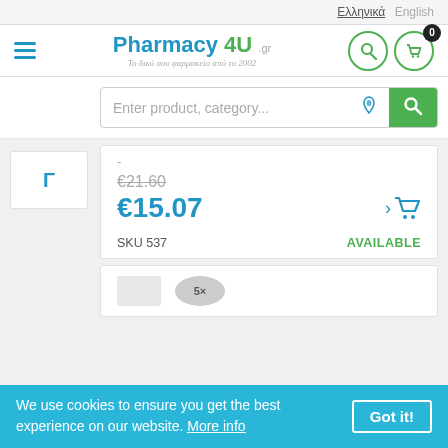Ελληνικά  English
[Figure (logo): Pharmacy 4U .gr logo with Greek subtitle]
Enter product, category...
-
€21.60
€15.07
SKU 537
AVAILABLE
We use cookies to ensure you get the best experience on our website. More info  Got it!